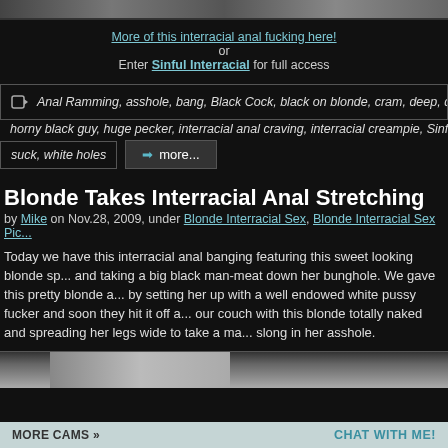[Figure (photo): Partial top image strip, cropped photo]
More of this interracial anal fucking here!
or
Enter Sinful Interracial for full access
Anal Ramming, asshole, bang, Black Cock, black on blonde, cram, deep, d...
horny black guy, huge pecker, interracial anal craving, interracial creampie, Sinful...
suck, white holes
Blonde Takes Interracial Anal Stretching
by Mike on Nov.28, 2009, under Blonde Interracial Sex, Blonde Interracial Sex Pic...
Today we have this interracial anal banging featuring this sweet looking blonde sp... and taking a big black man-meat down her bunghole. We gave this pretty blonde a... by setting her up with a well endowed white pussy fucker and soon they hit it off a... our couch with this blonde totally naked and spreading her legs wide to take a ma... slong in her asshole.
[Figure (photo): Partial bottom image strip, cropped photo]
CHAT WITH ME!
MORE CAMS »